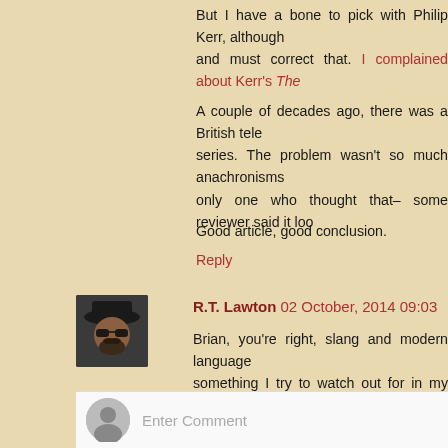But I have a bone to pick with Philip Kerr, although and must correct that. I complained about Kerr's The
A couple of decades ago, there was a British tele series. The problem wasn't so much anachronisms only one who thought that– some reviewer said it loo
Good article, good conclusion.
Reply
R.T. Lawton 02 October, 2014 09:03
Brian, you're right, slang and modern language something I try to watch out for in my two histor critique readers catch it if I don't before the manuscr
Reply
Enter Comment